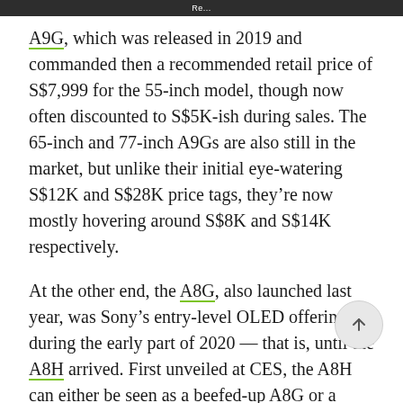Re...
A9G, which was released in 2019 and commanded then a recommended retail price of S$7,999 for the 55-inch model, though now often discounted to S$5K-ish during sales. The 65-inch and 77-inch A9Gs are also still in the market, but unlike their initial eye-watering S$12K and S$28K price tags, they’re now mostly hovering around S$8K and S$14K respectively.
At the other end, the A8G, also launched last year, was Sony’s entry-level OLED offering during the early part of 2020 — that is, until the A8H arrived. First unveiled at CES, the A8H can either be seen as a beefed-up A8G or a more affordable A9G.